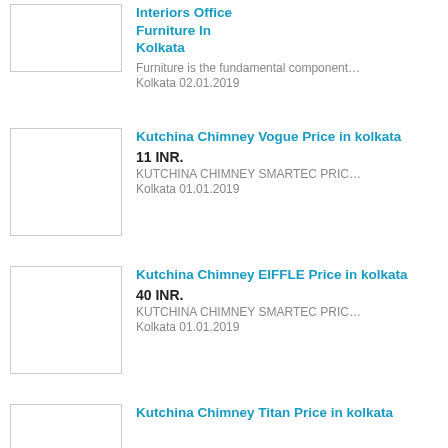[Figure (photo): Thumbnail image placeholder for Interiors Office Furniture In Kolkata listing]
Interiors Office Furniture In Kolkata
Furniture is the fundamental component…
Kolkata 02.01.2019
[Figure (photo): Thumbnail image placeholder for Kutchina Chimney Vogue Price in kolkata listing]
Kutchina Chimney Vogue Price in kolkata
11 INR.
KUTCHINA CHIMNEY SMARTEC PRIC…
Kolkata 01.01.2019
[Figure (photo): Thumbnail image placeholder for Kutchina Chimney EIFFLE Price in kolkata listing]
Kutchina Chimney EIFFLE Price in kolkata
40 INR.
KUTCHINA CHIMNEY SMARTEC PRIC…
Kolkata 01.01.2019
[Figure (photo): Thumbnail image placeholder for Kutchina Chimney Titan Price in kolkata listing]
Kutchina Chimney Titan Price in kolkata